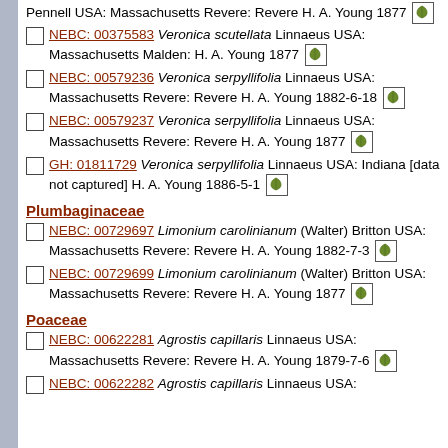Pennell USA: Massachusetts Revere: Revere H. A. Young 1877
NEBC: 00375583 Veronica scutellata Linnaeus USA: Massachusetts Malden: H. A. Young 1877
NEBC: 00579236 Veronica serpyllifolia Linnaeus USA: Massachusetts Revere: Revere H. A. Young 1882-6-18
NEBC: 00579237 Veronica serpyllifolia Linnaeus USA: Massachusetts Revere: Revere H. A. Young 1877
GH: 01811729 Veronica serpyllifolia Linnaeus USA: Indiana [data not captured] H. A. Young 1886-5-1
Plumbaginaceae
NEBC: 00729697 Limonium carolinianum (Walter) Britton USA: Massachusetts Revere: Revere H. A. Young 1882-7-3
NEBC: 00729699 Limonium carolinianum (Walter) Britton USA: Massachusetts Revere: Revere H. A. Young 1877
Poaceae
NEBC: 00622281 Agrostis capillaris Linnaeus USA: Massachusetts Revere: Revere H. A. Young 1879-7-6
NEBC: 00622282 Agrostis capillaris Linnaeus USA: